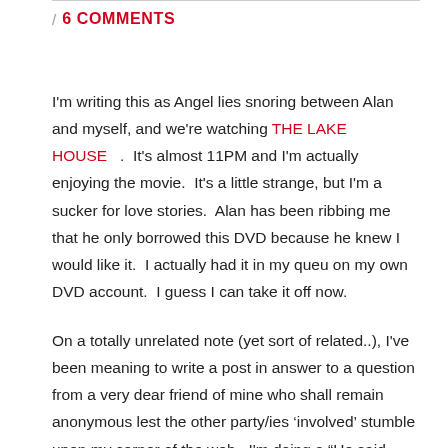/ 6 COMMENTS
I'm writing this as Angel lies snoring between Alan and myself, and we're watching THE LAKE HOUSE .  It's almost 11PM and I'm actually enjoying the movie.  It's a little strange, but I'm a sucker for love stories.  Alan has been ribbing me that he only borrowed this DVD because he knew I would like it.  I actually had it in my queu on my own DVD account.  I guess I can take it off now.
On a totally unrelated note (yet sort of related..), I've been meaning to write a post in answer to a question from a very dear friend of mine who shall remain anonymous lest the other party/ies ‘involved’ stumble upon my corner of the web.  I'm doing a “He said.. she said..” post because I don't think my friend's question can be answered one